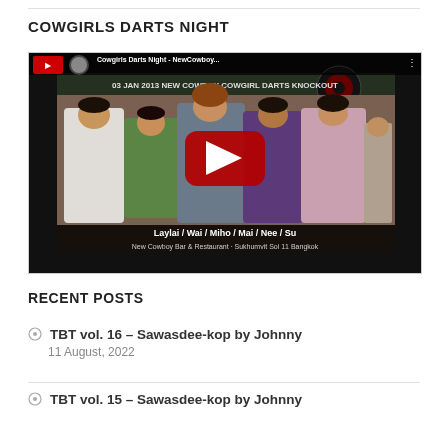COWGIRLS DARTS NIGHT
[Figure (screenshot): YouTube video thumbnail showing 'Cowgirls Darts Night - NewCowboy...' with five women posing for a photo at New Cowboy Bar & Restaurant, Sukhumvit Soi 11 Bangkok. The thumbnail shows a date of 03 JAN 2013, names Laylai / Wai / Miho / Mai / Nee / Su. A red YouTube play button is overlaid in the center.]
RECENT POSTS
TBT vol. 16 – Sawasdee-kop by Johnny
11 August, 2022
TBT vol. 15 – Sawasdee-kop by Johnny